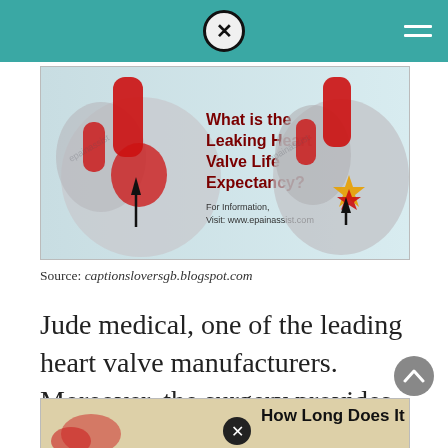[Figure (illustration): Medical illustration showing a leaking heart valve with text overlay 'What is the Leaking Heart Valve Life Expectancy?' and 'For Information, Visit: www.epainassist.com'. Two heart cross-section images side by side.]
Source: captionsloversgb.blogspot.com
Jude medical, one of the leading heart valve manufacturers. Moreover, the surgery provides increased chances of survival.
[Figure (illustration): Bottom strip showing start of another medical image with text 'How Long Does It Take']